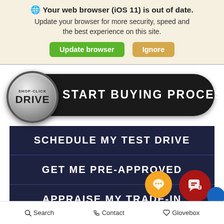Your web browser (iOS 11) is out of date. Update your browser for more security, speed and the best experience on this site.
[Figure (screenshot): Two buttons: green 'Update browser' and tan 'Ignore']
[Figure (logo): Shop Click Drive - START BUYING PROCESS button with metallic coin logo]
SCHEDULE MY TEST DRIVE
GET ME PRE-APPROVED
APPRAISE MY TRADE-IN
Search   Contact   Glovebox